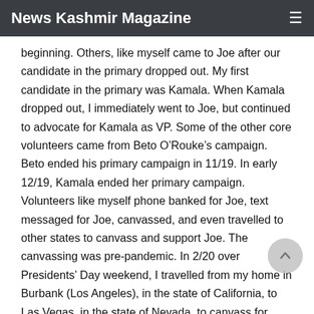News Kashmir Magazine
beginning. Others, like myself came to Joe after our candidate in the primary dropped out. My first candidate in the primary was Kamala. When Kamala dropped out, I immediately went to Joe, but continued to advocate for Kamala as VP. Some of the other core volunteers came from Beto O’Rouke’s campaign. Beto ended his primary campaign in 11/19. In early 12/19, Kamala ended her primary campaign. Volunteers like myself phone banked for Joe, text messaged for Joe, canvassed, and even travelled to other states to canvass and support Joe. The canvassing was pre-pandemic. In 2/20 over Presidents’ Day weekend, I travelled from my home in Burbank (Los Angeles), in the state of California, to Las Vegas, in the state of Nevada, to canvass for Joe.The second and considered the biggest reason Joe ended up winning the 2020 primary is the historic endorsement of House of Representative Congressman,